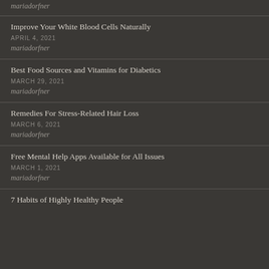mariadorfner
Improve Your White Blood Cells Naturally
APRIL 4, 2021
mariadorfner
Best Food Sources and Vitamins for Diabetics
MARCH 29, 2021
mariadorfner
Remedies For Stress-Related Hair Loss
MARCH 6, 2021
mariadorfner
Free Mental Help Apps Available for All Issues
MARCH 1, 2021
mariadorfner
7 Habits of Highly Healthy People